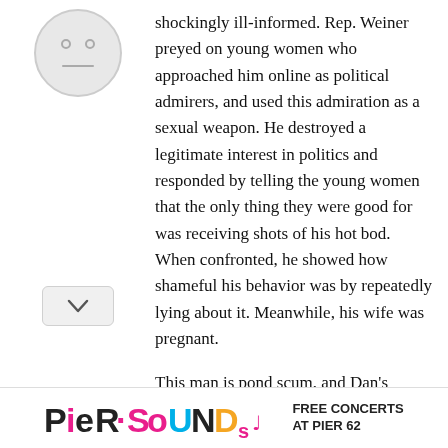[Figure (illustration): Circular avatar placeholder with a simple face icon (neutral expression) on a light gray background]
shockingly ill-informed. Rep. Weiner preyed on young women who approached him online as political admirers, and used this admiration as a sexual weapon. He destroyed a legitimate interest in politics and responded by telling the young women that the only thing they were good for was receiving shots of his hot bod. When confronted, he showed how shameful his behavior was by repeatedly lying about it. Meanwhile, his wife was pregnant.
This man is pond scum, and Dan's impulsive, knee-jerk defense of his actions should be condemned and retracted. Dan should apologize
[Figure (logo): PierSounds colorful logo with FREE CONCERTS AT PIER 62 text]